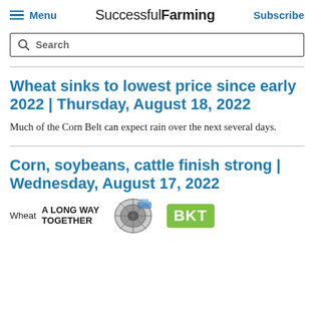Menu | Successful Farming | Subscribe
Search
Wheat sinks to lowest price since early 2022 | Thursday, August 18, 2022
Much of the Corn Belt can expect rain over the next several days.
Corn, soybeans, cattle finish strong | Wednesday, August 17, 2022
Wheat A LONG WAY TOGETHER [tractor image] BKT